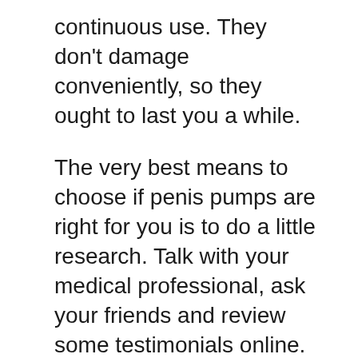continuous use. They don’t damage conveniently, so they ought to last you a while.
The very best means to choose if penis pumps are right for you is to do a little research. Talk with your medical professional, ask your friends and review some testimonials online. If you have never ever made use of a pump in the past, you might want to talk to somebody that has, such as your sexual companion. They can provide you with valuable information about using a pump, and they can likewise supply you with guidelines on just how to use your brand-new tools effectively.
Cock Pills is a wonder drug for a great deal of